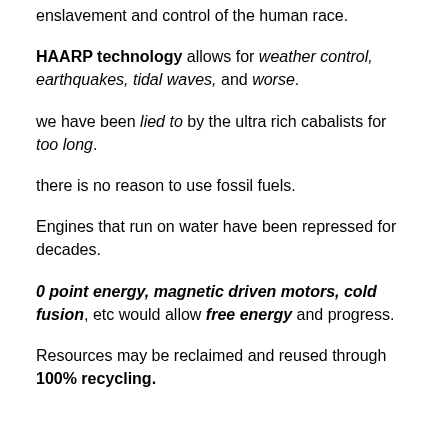enslavement and control of the human race.
HAARP technology allows for weather control, earthquakes, tidal waves, and worse.
we have been lied to by the ultra rich cabalists for too long.
there is no reason to use fossil fuels.
Engines that run on water have been repressed for decades.
0 point energy, magnetic driven motors, cold fusion, etc would allow free energy and progress.
Resources may be reclaimed and reused through 100% recycling.